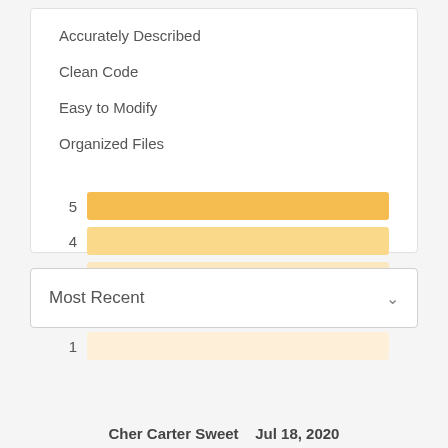Accurately Described
Clean Code
Easy to Modify
Organized Files
[Figure (bar-chart): Rating breakdown]
Most Recent
Cher Carter Sweet  Jul 18, 2020